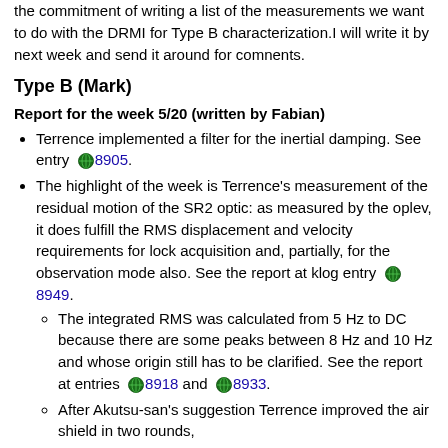the commitment of writing a list of the measurements we want to do with the DRMI for Type B characterization. I will write it by next week and send it around for comnents.
Type B (Mark)
Report for the week 5/20 (written by Fabian)
Terrence implemented a filter for the inertial damping. See entry 🌐 8905.
The highlight of the week is Terrence's measurement of the residual motion of the SR2 optic: as measured by the oplev, it does fulfill the RMS displacement and velocity requirements for lock acquisition and, partially, for the observation mode also. See the report at klog entry 🌐 8949.
The integrated RMS was calculated from 5 Hz to DC because there are some peaks between 8 Hz and 10 Hz and whose origin still has to be clarified. See the report at entries 🌐 8918 and 🌐 8933.
After Akutsu-san's suggestion Terrence improved the air shield in two rounds, including replacing lenses removed the